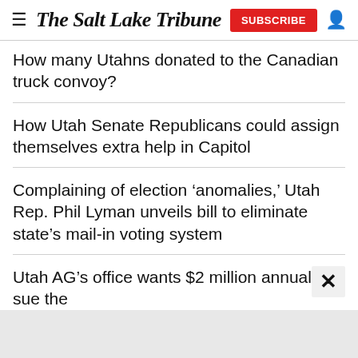The Salt Lake Tribune
How many Utahns donated to the Canadian truck convoy?
How Utah Senate Republicans could assign themselves extra help in Capitol
Complaining of election ‘anomalies,’ Utah Rep. Phil Lyman unveils bill to eliminate state’s mail-in voting system
Utah AG’s office wants $2 million annually to sue the federal government